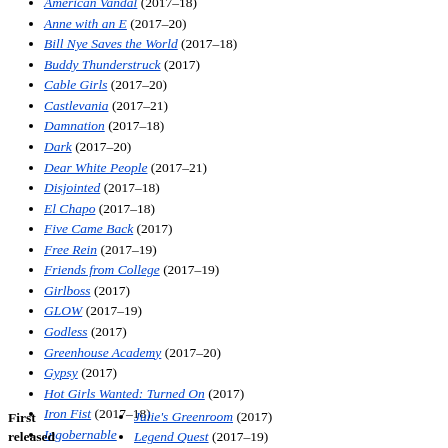American Vandal (2017–18)
Anne with an E (2017–20)
Bill Nye Saves the World (2017–18)
Buddy Thunderstruck (2017)
Cable Girls (2017–20)
Castlevania (2017–21)
Damnation (2017–18)
Dark (2017–20)
Dear White People (2017–21)
Disjointed (2017–18)
El Chapo (2017–18)
Five Came Back (2017)
Free Rein (2017–19)
Friends from College (2017–19)
Girlboss (2017)
GLOW (2017–19)
Godless (2017)
Greenhouse Academy (2017–20)
Gypsy (2017)
Hot Girls Wanted: Turned On (2017)
Iron Fist (2017–18)
Ingobernable
Jack Whitehall: Travels with My Father (2017–21)
First released
Julie's Greenroom (2017)
Legend Quest (2017–19)